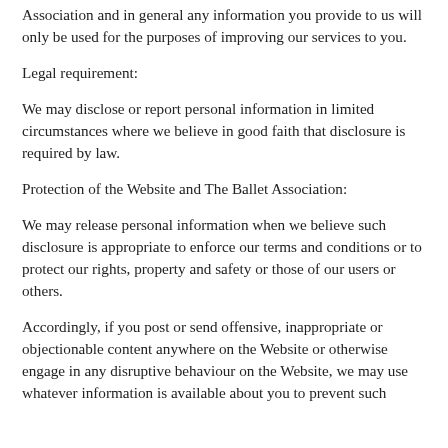Association and in general any information you provide to us will only be used for the purposes of improving our services to you.
Legal requirement:
We may disclose or report personal information in limited circumstances where we believe in good faith that disclosure is required by law.
Protection of the Website and The Ballet Association:
We may release personal information when we believe such disclosure is appropriate to enforce our terms and conditions or to protect our rights, property and safety or those of our users or others.
Accordingly, if you post or send offensive, inappropriate or objectionable content anywhere on the Website or otherwise engage in any disruptive behaviour on the Website, we may use whatever information is available about you to prevent such